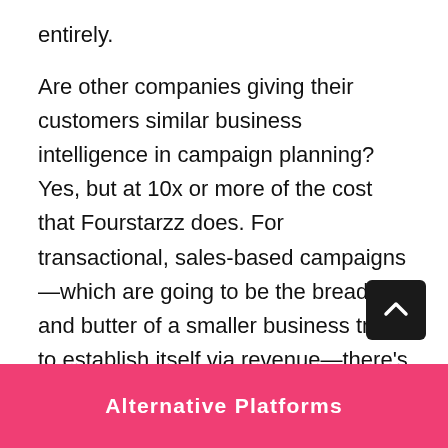entirely.

Are other companies giving their customers similar business intelligence in campaign planning? Yes, but at 10x or more of the cost that Fourstarzz does. For transactional, sales-based campaigns—which are going to be the bread and butter of a smaller business trying to establish itself via revenue—there's no better option for those on a tight budget. But awareness campaigns have, for obvious reasons, an important role to play in the growth of a company. It's been that Proof
Alternative Platforms